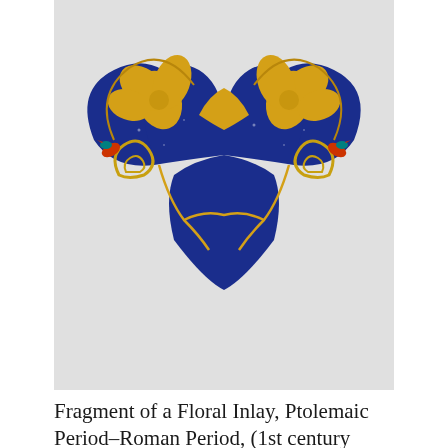[Figure (photo): Photograph of a fragment of a floral inlay against a light gray background. The artifact is bow-tie or butterfly shaped with a deep blue/cobalt base decorated with yellow floral and botanical motifs, including large stylized flowers and swirling vines. Small colorful bird figures (red and teal) appear on the sides.]
Fragment of a Floral Inlay, Ptolemaic Period–Roman Period, (1st century BCE–1st century CE)
Ancient Roman
[Figure (photo): Partial photograph of two metallic/silver-colored sculptural objects against a gray background, partially cropped at the bottom of the page.]